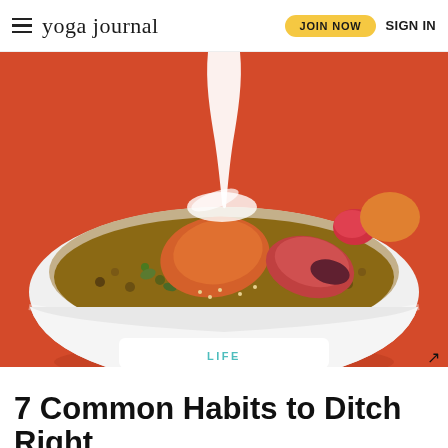yoga journal | JOIN NOW  SIGN IN
[Figure (photo): A white ceramic bowl filled with granola, fruit slices (persimmon, plum, strawberry), and nuts on a red background with milk being poured in from above.]
LIFE
7 Common Habits to Ditch Right